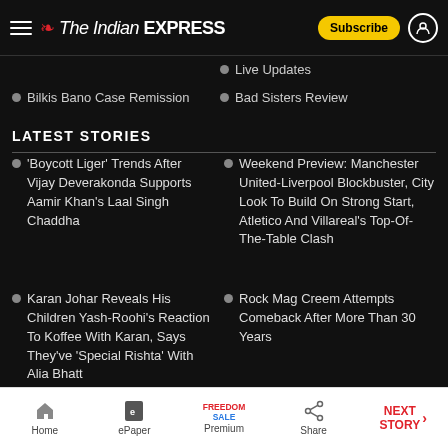The Indian Express
Live Updates
Bilkis Bano Case Remission
Bad Sisters Review
LATEST STORIES
'Boycott Liger' Trends After Vijay Deverakonda Supports Aamir Khan's Laal Singh Chaddha
Weekend Preview: Manchester United-Liverpool Blockbuster, City Look To Build On Strong Start, Atletico And Villareal's Top-Of-The-Table Clash
Karan Johar Reveals His Children Yash-Roohi's Reaction To Koffee With Karan, Says They've 'Special Rishta' With Alia Bhatt
Rock Mag Creem Attempts Comeback After More Than 30 Years
Home | ePaper | Premium | Share | NEXT STORY